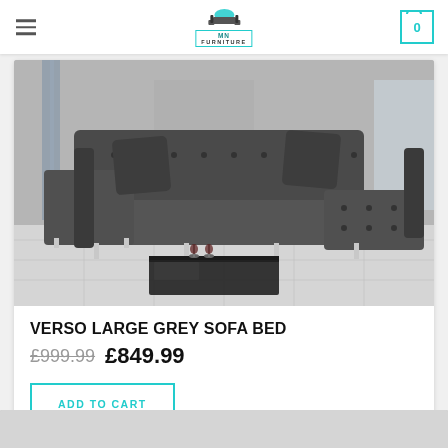MN FURNITURE
[Figure (photo): Grey tufted L-shaped sectional sofa bed with chrome legs and decorative pillows, shown in a modern living room setting with a black glass coffee table]
VERSO LARGE GREY SOFA BED
£999.99  £849.99
ADD TO CART